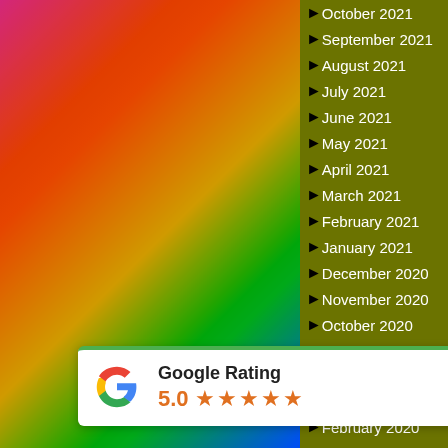[Figure (photo): Colorful abstract/artistic photo background on left side of page]
October 2021
September 2021
August 2021
July 2021
June 2021
May 2021
April 2021
March 2021
February 2021
January 2021
December 2020
November 2020
October 2020
September 2020
August 2020
March 2020
February 2020
[Figure (other): Google Rating widget showing 5.0 stars rating with Google G logo]